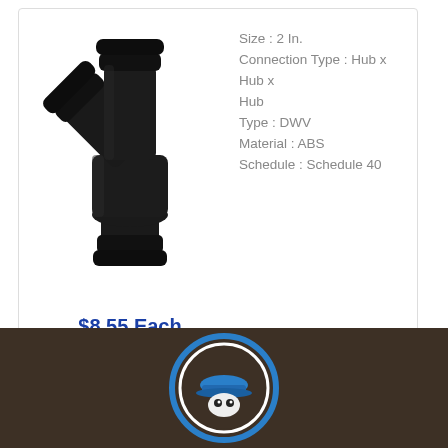[Figure (photo): Black ABS DWV wye pipe fitting (Y-branch), 2 inch, Schedule 40, with three hub connections]
Size : 2 In.
Connection Type : Hub x Hub x Hub
Type : DWV
Material : ABS
Schedule : Schedule 40
$8.55 Each
[Figure (logo): Circular logo with blue ring border, white inner ring, cartoon mascot wearing a blue hard hat]